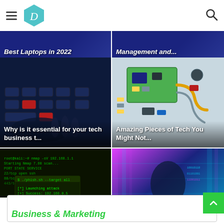D (logo) — navigation header with hamburger menu and search icon
[Figure (screenshot): Partial article card top-left: dark blue background with italic white bold text partially visible 'Best Laptops in 2022']
[Figure (screenshot): Partial article card top-right: dark blue background with italic white bold text partially visible 'Management and...']
[Figure (photo): Article card: dark photo of hands on keyboard with red keys. Title overlay: 'Why is it essential for your tech business t...']
[Figure (photo): Article card: photo of disassembled smartphone circuit board and components. Title overlay: 'Amazing Pieces of Tech You Might Not...']
[Figure (photo): Article card: dark green terminal/code screen. Title overlay: 'The Top 5 Phishing Tactics You Need to...']
[Figure (photo): Article card: colorful digital/futuristic woman silhouette with data streams. Title overlay: '3 Ways Technology Can Help You With...']
Business & Marketing